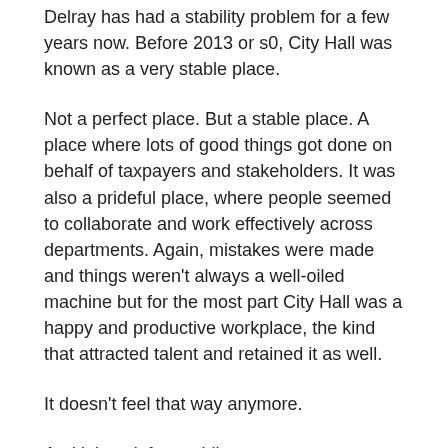Delray has had a stability problem for a few years now. Before 2013 or s0, City Hall was known as a very stable place.
Not a perfect place. But a stable place. A place where lots of good things got done on behalf of taxpayers and stakeholders. It was also a prideful place, where people seemed to collaborate and work effectively across departments. Again, mistakes were made and things weren't always a well-oiled machine but for the most part City Hall was a happy and productive workplace, the kind that attracted talent and retained it as well.
It doesn't feel that way anymore.
And it hasn't for a while now.
This isn't a criticism of anyone or anything. For the record, I like the interim City Manager and respect a lot of people who work at City Hall. I wrote a whole book about what I felt worked and what didn't during my seven years as a commissioner and mayor.